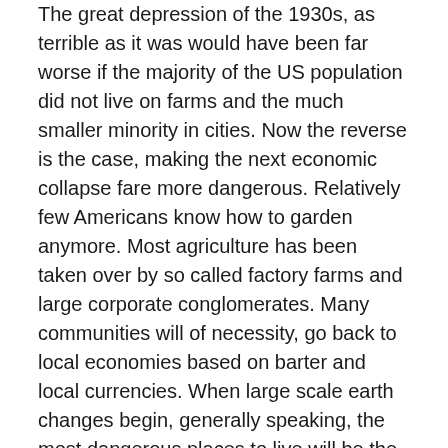The great depression of the 1930s, as terrible as it was would have been far worse if the majority of the US population did not live on farms and the much smaller minority in cities. Now the reverse is the case, making the next economic collapse fare more dangerous. Relatively few Americans know how to garden anymore. Most agriculture has been taken over by so called factory farms and large corporate conglomerates. Many communities will of necessity, go back to local economies based on barter and local currencies. When large scale earth changes begin, generally speaking, the most dangerous places to live will be the coast lines of Oceans and other large bodies of water such as the great lakes. Unfortunately, this is where the majority of the world's human population lives and also where the majority of the world's manufacturing, shipping, travel, and communications infrastructure is located.
How catastrophic the changes brought on by the